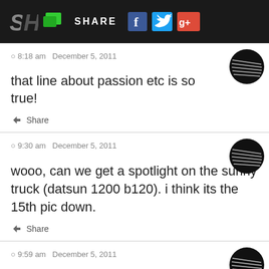SH SHARE
8:18 am  December 5, 2011
that line about passion etc is so true!
Share
9:30 am  December 5, 2011
wooo, can we get a spotlight on the sunny truck (datsun 1200 b120). i think its the 15th pic down.
Share
9:59 am  December 5, 2011